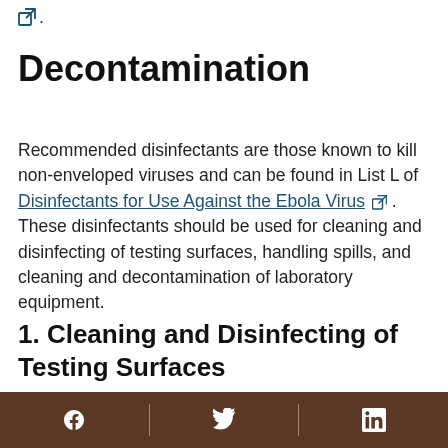[Figure (other): External link icon followed by a period]
Decontamination
Recommended disinfectants are those known to kill non-enveloped viruses and can be found in List L of Disinfectants for Use Against the Ebola Virus [external link] . These disinfectants should be used for cleaning and disinfecting of testing surfaces, handling spills, and cleaning and decontamination of laboratory equipment.
1. Cleaning and Disinfecting of Testing Surfaces
See the Interim Guidance for Environmental Infection
Facebook | Twitter | LinkedIn